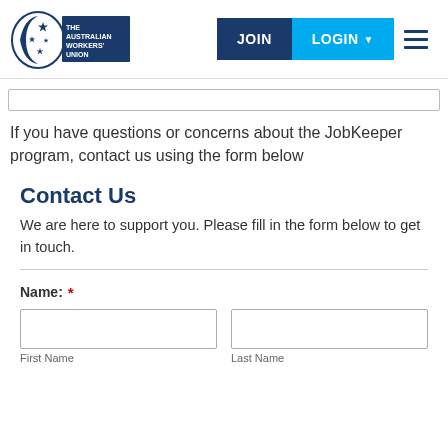[Figure (logo): The Australian Workers' Union logo — circular crescent and stars emblem with blue rectangle containing white text]
If you have questions or concerns about the JobKeeper program, contact us using the form below
Contact Us
We are here to support you. Please fill in the form below to get in touch.
Name:  *
First Name
Last Name